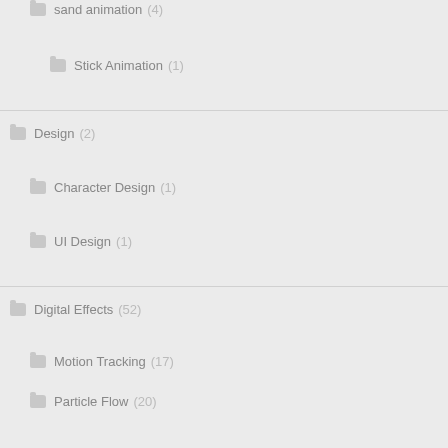sand animation (4)
Stick Animation (1)
Design (2)
Character Design (1)
UI Design (1)
Digital Effects (52)
Motion Tracking (17)
Particle Flow (20)
VFX (42)
Events (3)